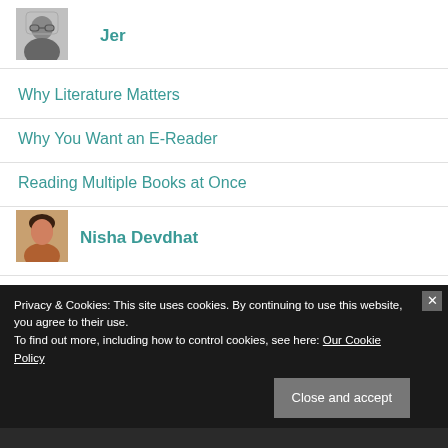[Figure (photo): Black and white headshot photo of author 'Jer', a person with glasses and dark shirt]
Jer
Why Literature Matters
Why You Want an E-Reader
Reading Multiple Books at Once
[Figure (photo): Color headshot photo of author 'Nisha Devdhat', a woman with dark hair]
Nisha Devdhat
13 Tips To Excite Your Child About Reading
Privacy & Cookies: This site uses cookies. By continuing to use this website, you agree to their use.
To find out more, including how to control cookies, see here: Our Cookie Policy